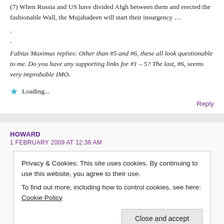(7) When Russia and US have divided Afgh between them and erected the fashionable Wall, the Mujahadeen will start their insurgency …
.
.
Fabius Maximus replies: Other than #5 and #6, these all look questionable to me. Do you have any supporting links for #1 – 5? The last, #6, seems very improbable IMO.
Loading...
Reply
HOWARD
1 FEBRUARY 2009 AT 12:38 AM
Privacy & Cookies: This site uses cookies. By continuing to use this website, you agree to their use.
To find out more, including how to control cookies, see here: Cookie Policy
Close and accept